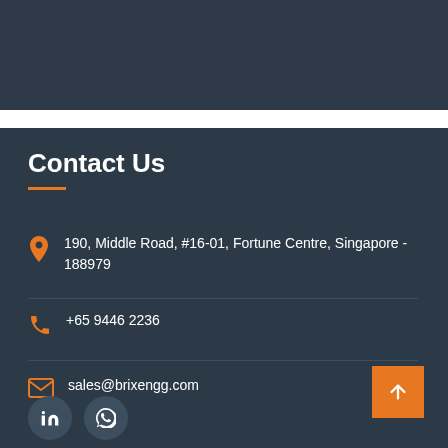[Figure (photo): Dark blue-grey background image at top of page]
Contact Us
190, Middle Road, #16-01, Fortune Centre, Singapore - 188979
+65 9446 2236
sales@brixengg.com